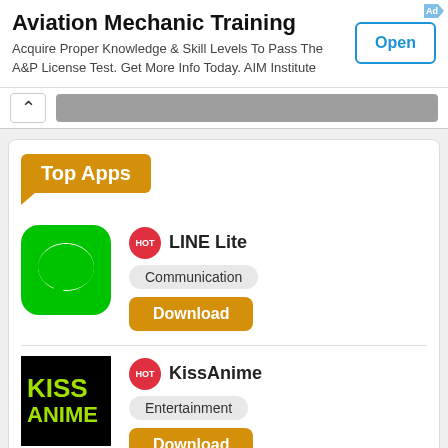[Figure (screenshot): Advertisement banner for Aviation Mechanic Training with Open button]
Aviation Mechanic Training
Acquire Proper Knowledge & Skill Levels To Pass The A&P License Test. Get More Info Today. AIM Institute
[Figure (screenshot): Top Apps section with LINE Lite and KissAnime app listings]
Top Apps
LINE Lite
Communication
Download
KissAnime
Entertainment
Download